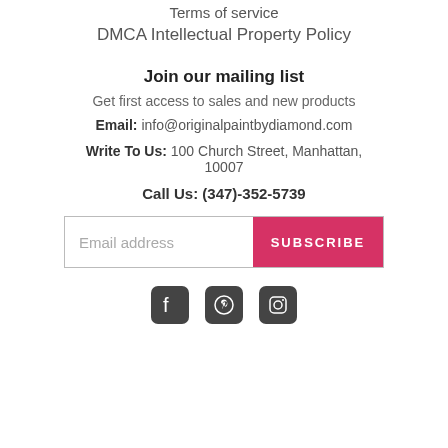Terms of service
DMCA Intellectual Property Policy
Join our mailing list
Get first access to sales and new products
Email: info@originalpaintbydiamond.com
Write To Us: 100 Church Street, Manhattan, 10007
Call Us: (347)-352-5739
[Figure (other): Email subscription form with email address input field and SUBSCRIBE button]
[Figure (other): Social media icons: Facebook, Pinterest, Instagram]